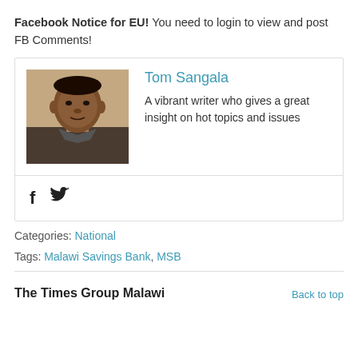Facebook Notice for EU! You need to login to view and post FB Comments!
[Figure (photo): Headshot photo of Tom Sangala, a man with short hair wearing a dark jacket]
Tom Sangala
A vibrant writer who gives a great insight on hot topics and issues
[Figure (other): Social media icons: Facebook (f) and Twitter (bird)]
Categories: National
Tags: Malawi Savings Bank, MSB
The Times Group Malawi